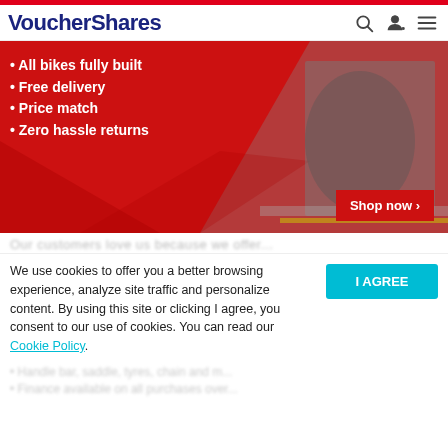VoucherShares
[Figure (illustration): Cycling promotional banner with red background showing cyclists and bullet points: All bikes fully built, Free delivery, Price match, Zero hassle returns. Shop now button in bottom right.]
We use cookies to offer you a better browsing experience, analyze site traffic and personalize content. By using this site or clicking I agree, you consent to our use of cookies. You can read our Cookie Policy.
Finance available on all purchases over...